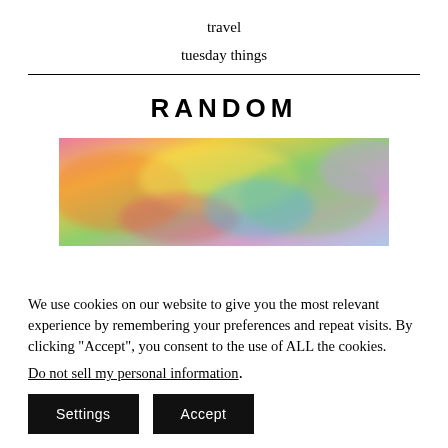travel
tuesday things
RANDOM
[Figure (photo): Colorful blurred photo of yarn or textile materials in pink, yellow, green, and other colors]
We use cookies on our website to give you the most relevant experience by remembering your preferences and repeat visits. By clicking “Accept”, you consent to the use of ALL the cookies.
Do not sell my personal information.
Settings  Accept